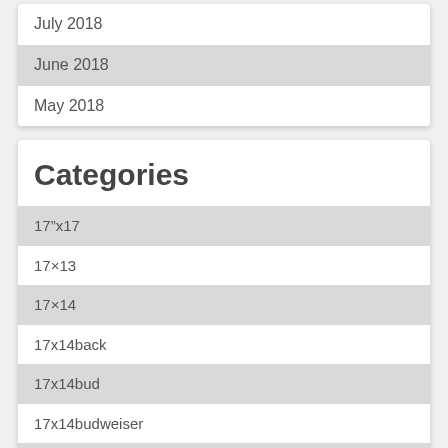July 2018
June 2018
May 2018
Categories
17"x17
17×13
17×14
17x14back
17x14bud
17x14budweiser
17x14busch
17x14cheers
17x14cocktails